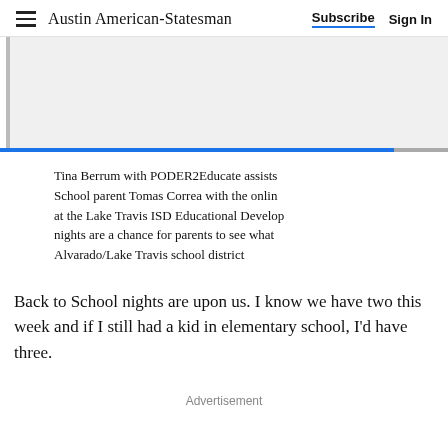Austin American-Statesman   Subscribe   Sign In
[Figure (photo): Partial photo with blue bottom bar, showing a scene related to Lake Travis ISD educational event]
Tina Berrum with PODER2Educate assists School parent Tomas Correa with the online at the Lake Travis ISD Educational Develop nights are a chance for parents to see what Alvarado/Lake Travis school district
Back to School nights are upon us. I know we have two this week and if I still had a kid in elementary school, I'd have three.
Advertisement